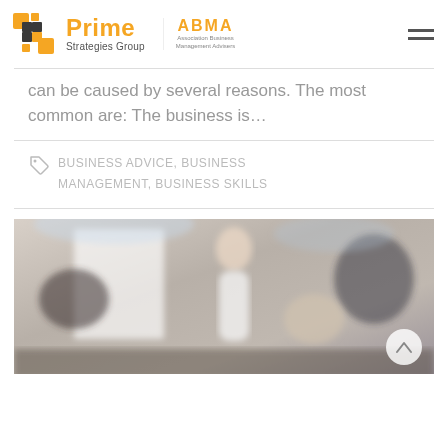Prime Strategies Group | Association Business Management Advisers
can be caused by several reasons. The most common are: The business is…
BUSINESS ADVICE, BUSINESS MANAGEMENT, BUSINESS SKILLS
[Figure (photo): A blurred office meeting scene with a woman presenting at a whiteboard/flipchart to a group of colleagues.]